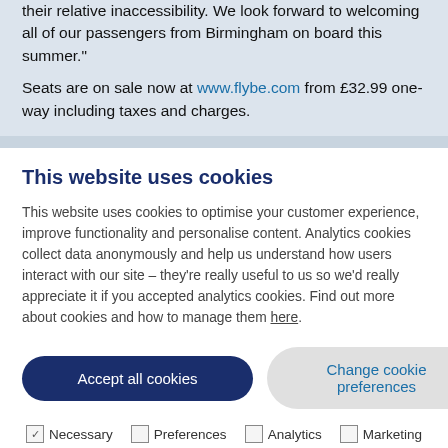their relative inaccessibility. We look forward to welcoming all of our passengers from Birmingham on board this summer."
Seats are on sale now at www.flybe.com from £32.99 one-way including taxes and charges.
This website uses cookies
This website uses cookies to optimise your customer experience, improve functionality and personalise content. Analytics cookies collect data anonymously and help us understand how users interact with our site – they're really useful to us so we'd really appreciate it if you accepted analytics cookies. Find out more about cookies and how to manage them here.
Accept all cookies | Change cookie preferences
Necessary  Preferences  Analytics  Marketing
More details